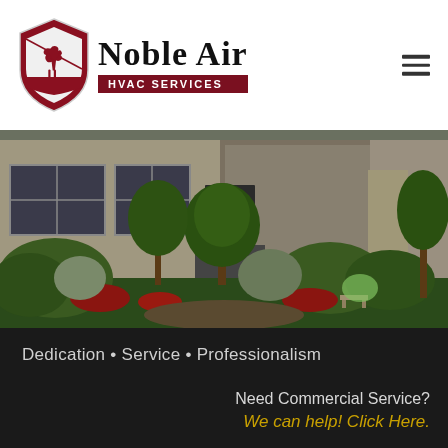[Figure (logo): Noble Air HVAC Services logo with a maroon shield containing a white rearing horse, and 'Noble Air' in Gothic blackletter font with 'HVAC SERVICES' on a dark red banner below]
[Figure (photo): Exterior photo of a residential house with lush landscaping, green shrubs, flowering plants, and trees in front of a stone facade]
Dedication • Service • Professionalism
Need Commercial Service?
We can help! Click Here.